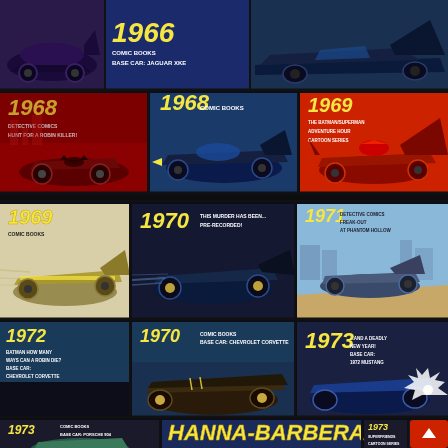[Figure (infographic): Batmobile history infographic showing different Batmobile designs from 1966-1973 across comic books, cartoons and detective comics. Features stylized illustrations of cars with year labels and source descriptions. Entries shown: 1966 Comic Books Base Car: Jaguar XKE; 1968 Detective Comics Hunt for a Robin Killer; 1968 Comic Books; 1969 The Batman/Superman Adventure Hour Cartoon Series; 1969 Comic Books; 1970 This Murder Has Been Pre-Recorded!; 1970 Comic Books Base Car: Chevrolet Corvette; 1971 Detective Comics Freak-Out at Phantom Hollow; 1972 Batman How Many Ways Can a Robin Die? Base Car: Chevrolet Corvette; 1973 ...And A Deadly New Year! Base Car: 1972 Mustang; 1973 Comic Books Base Car: Porsche 904; 1973 Hanna-Barbera Superfriends Cartoon Series]